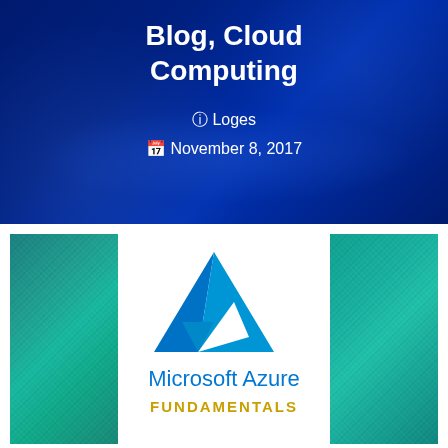Blog, Cloud Computing
@ Loges
📅 November 8, 2017
[Figure (logo): Microsoft Azure Fundamentals logo with blue triangle/mountain icon on white center panel, flanked by teal textured side panels. Text reads 'Microsoft Azure' in blue and 'FUNDAMENTALS' in gold/yellow below.]